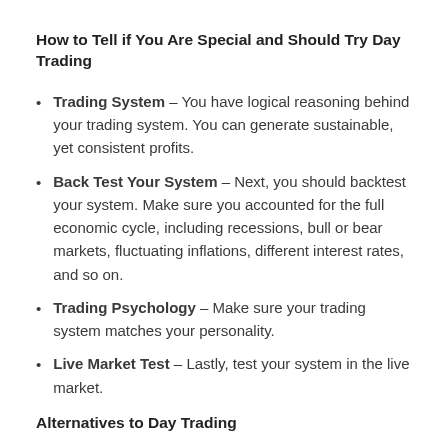How to Tell if You Are Special and Should Try Day Trading
Trading System – You have logical reasoning behind your trading system. You can generate sustainable, yet consistent profits.
Back Test Your System – Next, you should backtest your system. Make sure you accounted for the full economic cycle, including recessions, bull or bear markets, fluctuating inflations, different interest rates, and so on.
Trading Psychology – Make sure your trading system matches your personality.
Live Market Test – Lastly, test your system in the live market.
Alternatives to Day Trading